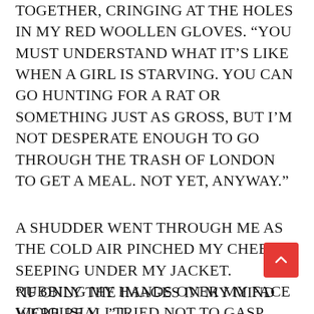TOGETHER, CRINGING AT THE HOLES IN MY RED WOOLLEN GLOVES. “YOU MUST UNDERSTAND WHAT IT’S LIKE WHEN A GIRL IS STARVING. YOU CAN GO HUNTING FOR A RAT OR SOMETHING JUST AS GROSS, BUT I’M NOT DESPERATE ENOUGH TO GO THROUGH THE TRASH OF LONDON TO GET A MEAL. NOT YET, ANYWAY.”
A SHUDDER WENT THROUGH ME AS THE COLD AIR PINCHED MY CHEEKS, SEEPING UNDER MY JACKET. RUBBING MY HANDS OVER MY FACE VICIOUSLY, I TRIED NOT TO GASP WHEN AN IMAGE OF A HANDSOME MAN CAME INTO MY MIND.
“IF ONLY THE IMAGES IN MY MIND WERE REAL,” I